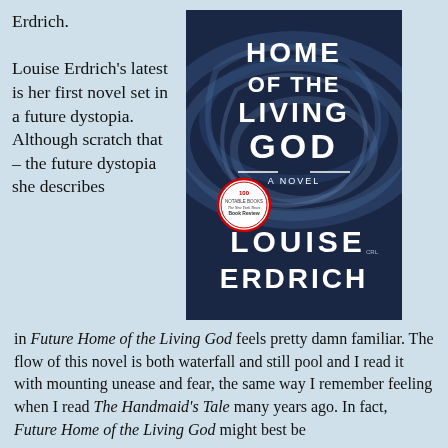Erdrich.
[Figure (illustration): Book cover of 'Future Home of the Living God' by Louise Erdrich. Dark blue background with swirling water imagery. White text reads: HOME OF THE LIVING GOD A NOVEL LOUISE ERDRICH. A circular NYT Book Review 100 Notable Books badge in the lower left area of the cover.]
Louise Erdrich's latest is her first novel set in a future dystopia. Although scratch that – the future dystopia she describes in Future Home of the Living God feels pretty damn familiar. The flow of this novel is both waterfall and still pool and I read it with mounting unease and fear, the same way I remember feeling when I read The Handmaid's Tale many years ago. In fact, Future Home of the Living God might best be